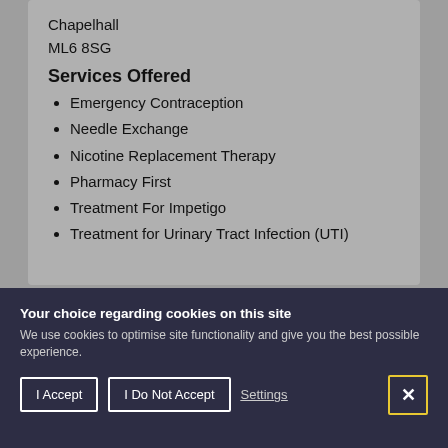Chapelhall
ML6 8SG
Services Offered
Emergency Contraception
Needle Exchange
Nicotine Replacement Therapy
Pharmacy First
Treatment For Impetigo
Treatment for Urinary Tract Infection (UTI)
Your choice regarding cookies on this site
We use cookies to optimise site functionality and give you the best possible experience.
I Accept | I Do Not Accept | Settings | X